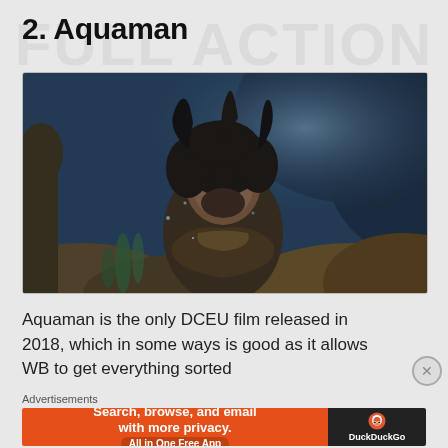2. Aquaman
[Figure (photo): Movie still from Aquaman showing a man with long dark hair and beard in an underwater scene with rocks and sea vegetation, dramatic lighting]
Aquaman is the only DCEU film released in 2018, which in some ways is good as it allows WB to get everything sorted
Advertisements
[Figure (other): DuckDuckGo advertisement banner: orange left panel reading 'Search, browse, and email with more privacy. All in One Free App', dark right panel with DuckDuckGo duck logo and brand name]